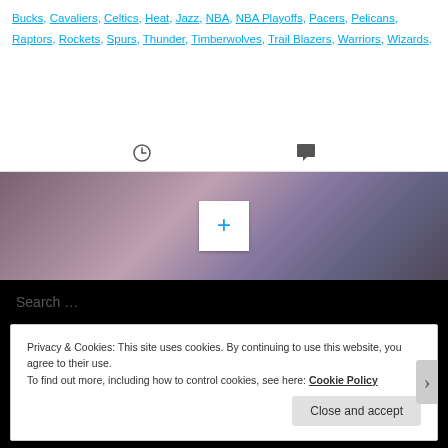Bucks, Cavaliers, Celtics, Heat, Jazz, NBA, NBA Playoffs, Pacers, Pelicans, Raptors, Rockets, Spurs, Thunder, Timberwolves, Trail Blazers, Warriors, Wizards.
[Figure (other): Sky/clouds background hero image with a white plus-symbol box in the center]
Search …
CATEGORIES
Privacy & Cookies: This site uses cookies. By continuing to use this website, you agree to their use.
To find out more, including how to control cookies, see here: Cookie Policy